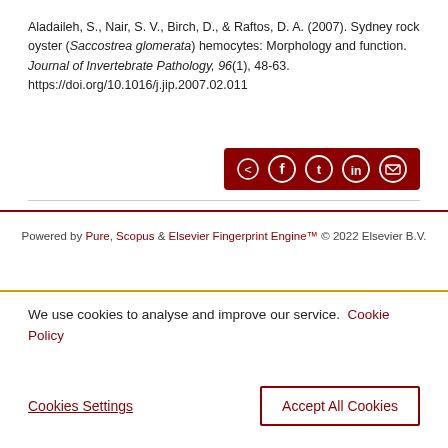Aladaileh, S., Nair, S. V., Birch, D., & Raftos, D. A. (2007). Sydney rock oyster (Saccostrea glomerata) hemocytes: Morphology and function. Journal of Invertebrate Pathology, 96(1), 48-63. https://doi.org/10.1016/j.jip.2007.02.011
[Figure (other): Share bar with social media icons: share, Facebook, Twitter, LinkedIn, email on dark red background]
Powered by Pure, Scopus & Elsevier Fingerprint Engine™ © 2022 Elsevier B.V.
We use cookies to analyse and improve our service. Cookie Policy
Cookies Settings
Accept All Cookies